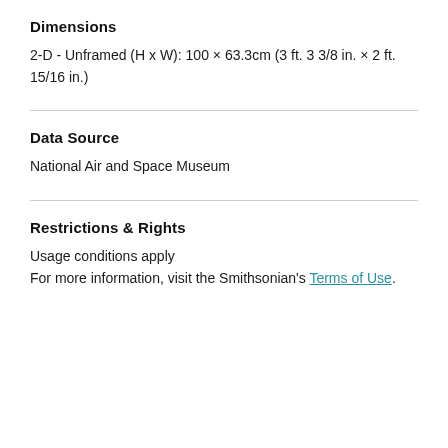Dimensions
2-D - Unframed (H x W): 100 × 63.3cm (3 ft. 3 3/8 in. × 2 ft. 15/16 in.)
Data Source
National Air and Space Museum
Restrictions & Rights
Usage conditions apply
For more information, visit the Smithsonian's Terms of Use.